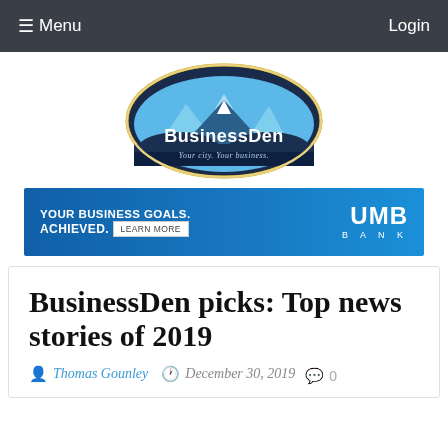≡ Menu   Login
[Figure (logo): BusinessDen logo — mountain peaks with yellow rays, dark blue shield shape, text 'BusinessDen' and tagline 'Your city. Your business.']
[Figure (infographic): UMB Bank advertisement banner — 'YOUR BUSINESS GOALS. ACHIEVED. Learn More' on blue background with UMB BANK logo on the right]
BusinessDen picks: Top news stories of 2019
Thomas Gounley   December 30, 2019   0